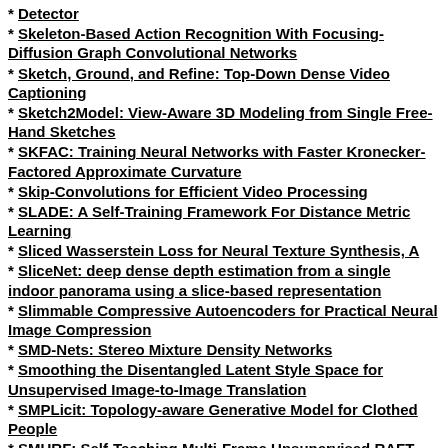Detector
Skeleton-Based Action Recognition With Focusing-Diffusion Graph Convolutional Networks
Sketch, Ground, and Refine: Top-Down Dense Video Captioning
Sketch2Model: View-Aware 3D Modeling from Single Free-Hand Sketches
SKFAC: Training Neural Networks with Faster Kronecker-Factored Approximate Curvature
Skip-Convolutions for Efficient Video Processing
SLADE: A Self-Training Framework For Distance Metric Learning
Sliced Wasserstein Loss for Neural Texture Synthesis, A
SliceNet: deep dense depth estimation from a single indoor panorama using a slice-based representation
Slimmable Compressive Autoencoders for Practical Neural Image Compression
SMD-Nets: Stereo Mixture Density Networks
Smoothing the Disentangled Latent Style Space for Unsupervised Image-to-Image Translation
SMPLicit: Topology-aware Generative Model for Clothed People
SMURF: Self-Teaching Multi-Frame Unsupervised RAFT with Full-Image Warping
SOE-Net: A Self-Attention and Orientation Encoding Network for Point Cloud-based Place Recognition